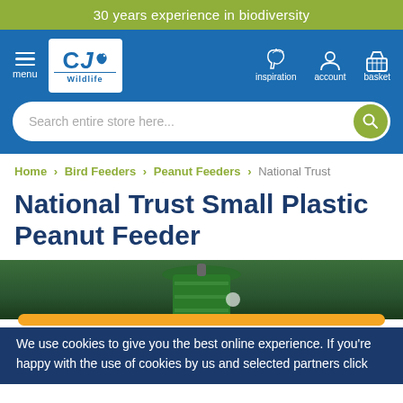30 years experience in biodiversity
[Figure (logo): CJ Wildlife logo with navigation icons for menu, inspiration, account, and basket on a blue background, plus search bar]
Home > Bird Feeders > Peanut Feeders > National Trust
National Trust Small Plastic Peanut Feeder
[Figure (photo): Top portion of a green peanut bird feeder against a blurred green background]
We use cookies to give you the best online experience. If you're happy with the use of cookies by us and selected partners click